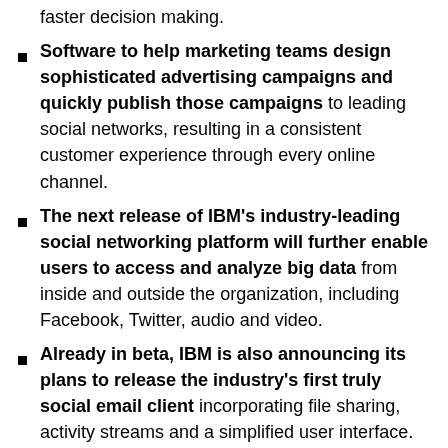faster decision making.
Software to help marketing teams design sophisticated advertising campaigns and quickly publish those campaigns to leading social networks, resulting in a consistent customer experience through every online channel.
The next release of IBM's industry-leading social networking platform will further enable users to access and analyze big data from inside and outside the organization, including Facebook, Twitter, audio and video.
Already in beta, IBM is also announcing its plans to release the industry's first truly social email client incorporating file sharing, activity streams and a simplified user interface. This will be the first major release of Notes and Domino in five years.